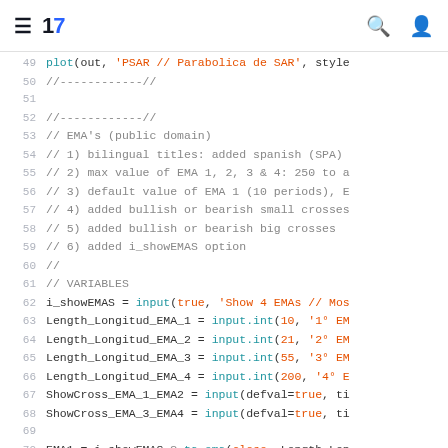TradingView logo and navigation icons
Code editor screenshot showing Pine Script lines 49-70 with syntax highlighting. Lines include plot, comment separators, EMA variable declarations and input functions.